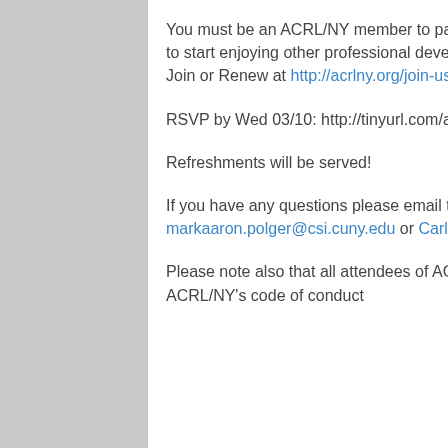You must be an ACRL/NY member to participate in Discussion Group Meetings. You can join today to start enjoying other professional development, conference, workshops and networking benefits. Join or Renew at http://acrlny.org/join-us/
RSVP by Wed 03/10: http://tinyurl.com/acrlny-fye-spring2017-RSVP
Refreshments will be served!
If you have any questions please email the co-chairs Mark Aaron Polger or Carl Andrews at markaaron.polger@csi.cuny.edu or Carl.Andrews@bcc.cuny.edu
Please note also that all attendees of ACRL/NY discussion groups are expected to abide by ACRL/NY's code of conduct